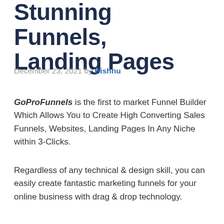Stunning Funnels, Landing Pages
December 23, 2021 by Bishnu
GoProFunnels is the first to market Funnel Builder Which Allows You to Create High Converting Sales Funnels, Websites, Landing Pages In Any Niche within 3-Clicks.
Regardless of any technical & design skill, you can easily create fantastic marketing funnels for your online business with drag & drop technology.